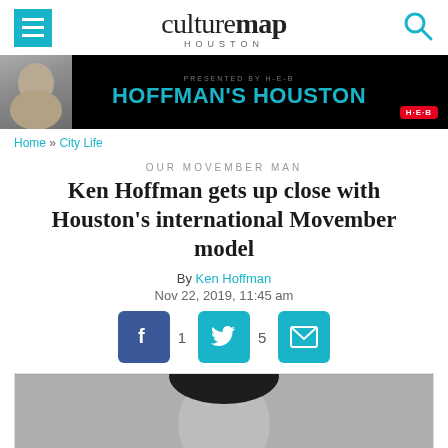culturemap HOUSTON
[Figure (illustration): Hoffman's Houston banner presented by H-E-B with photo of Ken Hoffman]
Home » City Life
OUR MOVEMBER MAN
Ken Hoffman gets up close with Houston's international Movember model
By Ken Hoffman
Nov 22, 2019, 11:45 am
[Figure (illustration): Social sharing buttons: Facebook (1), Twitter (5), Email]
[Figure (photo): Black and white portrait photo of a man with dark hair — the Movember model]